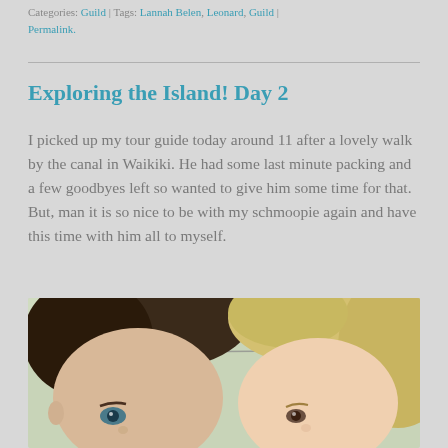Categories: Guild | Tags: Lannah Belen, Leonard, Guild | Permalink.
Exploring the Island! Day 2
I picked up my tour guide today around 11 after a lovely walk by the canal in Waikiki. He had some last minute packing and a few goodbyes left so wanted to give him some time for that. But, man it is so nice to be with my schmoopie again and have this time with him all to myself.
[Figure (photo): Close-up selfie photo of two people, one with dark hair on the left and one with blonde hair on the right, outdoors with greenery in the background.]